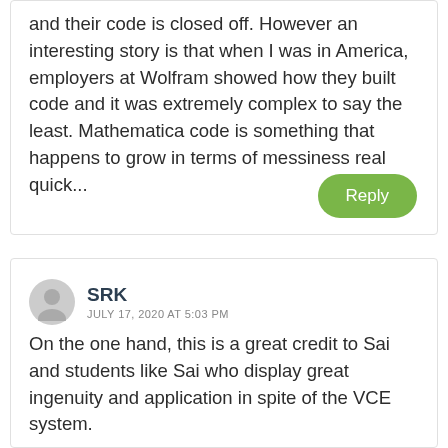and their code is closed off. However an interesting story is that when I was in America, employers at Wolfram showed how they built code and it was extremely complex to say the least. Mathematica code is something that happens to grow in terms of messiness real quick...
SRK
JULY 17, 2020 AT 5:03 PM
On the one hand, this is a great credit to Sai and students like Sai who display great ingenuity and application in spite of the VCE system.